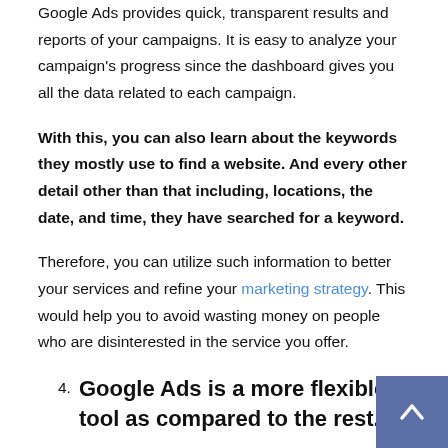Google Ads provides quick, transparent results and reports of your campaigns. It is easy to analyze your campaign's progress since the dashboard gives you all the data related to each campaign.
With this, you can also learn about the keywords they mostly use to find a website. And every other detail other than that including, locations, the date, and time, they have searched for a keyword.
Therefore, you can utilize such information to better your services and refine your marketing strategy. This would help you to avoid wasting money on people who are disinterested in the service you offer.
4. Google Ads is a more flexible tool as compared to the rest.
Since Google Ads promotes different Google